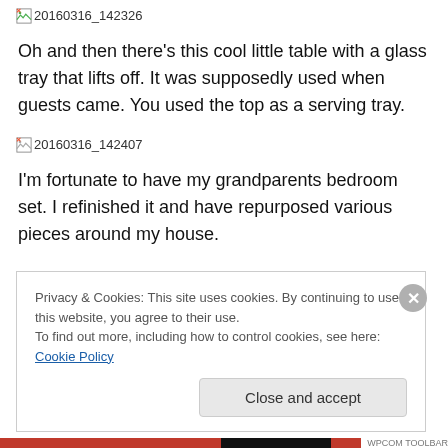[Figure (photo): Broken image placeholder showing filename '20160316_142326' with a small broken image icon]
Oh and then there's this cool little table with a glass tray that lifts off. It was supposedly used when guests came. You used the top as a serving tray.
[Figure (photo): Broken image placeholder showing filename '20160316_142407' with a small broken image icon]
I'm fortunate to have my grandparents bedroom set. I refinished it and have repurposed various pieces around my house.
Privacy & Cookies: This site uses cookies. By continuing to use this website, you agree to their use.
To find out more, including how to control cookies, see here: Cookie Policy